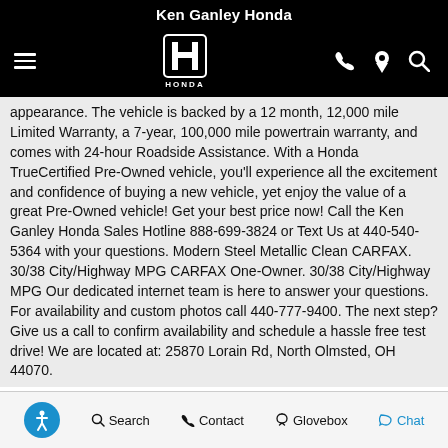Ken Ganley Honda
[Figure (logo): Honda logo with hamburger menu and navigation icons (phone, location pin, search) on black background]
appearance. The vehicle is backed by a 12 month, 12,000 mile Limited Warranty, a 7-year, 100,000 mile powertrain warranty, and comes with 24-hour Roadside Assistance. With a Honda TrueCertified Pre-Owned vehicle, you'll experience all the excitement and confidence of buying a new vehicle, yet enjoy the value of a great Pre-Owned vehicle! Get your best price now! Call the Ken Ganley Honda Sales Hotline 888-699-3824 or Text Us at 440-540-5364 with your questions. Modern Steel Metallic Clean CARFAX. 30/38 City/Highway MPG CARFAX One-Owner. 30/38 City/Highway MPG Our dedicated internet team is here to answer your questions. For availability and custom photos call 440-777-9400. The next step? Give us a call to confirm availability and schedule a hassle free test drive! We are located at: 25870 Lorain Rd, North Olmsted, OH 44070.
[Figure (screenshot): Search icon and GET E-PRICE button in blue]
Accessibility  Search  Contact  Glovebox  Chat